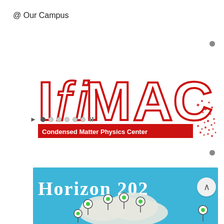@ Our Campus
[Figure (logo): IfiMAC Condensed Matter Physics Center logo — large red outlined letters 'IfiMAC' with red dot-particle scatter effect, red banner reading 'Condensed Matter Physics Center']
[Figure (screenshot): Carousel navigation dots with forward arrow, one filled dot and five empty dots, and a pause icon]
[Figure (illustration): Horizon 2020 EU funding programme banner on blue background — handwritten-style text reading 'HORIZON 202' with location pin balloons over a cloud/map shape]